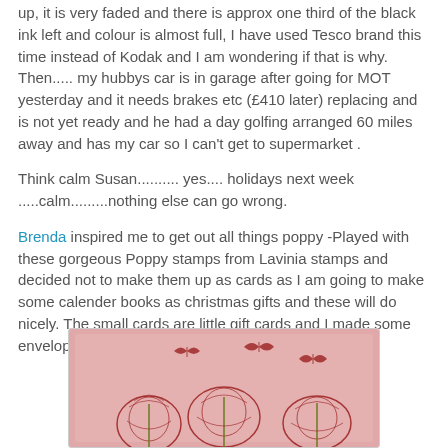up, it is very faded and there is approx one third of the black ink left and colour is almost full, I have used Tesco brand this time instead of Kodak and I am wondering if that is why.  Then..... my hubbys car is in garage after going for MOT yesterday and it needs brakes etc (£410 later) replacing and is not yet ready and he had a day golfing arranged 60 miles away and has my car so I can't get to supermarket .
Think calm Susan.......... yes.... holidays next week .....calm.........nothing else can go wrong.
Brenda inspired me to get out all things poppy -Played with these gorgeous Poppy stamps from Lavinia stamps and decided not to make them up as cards as I am going to make some calender books as christmas gifts and these will do nicely. The small cards are little gift cards and I made some envelopes to match.
[Figure (photo): A pink-toned image showing poppy flower stamps and butterfly silhouettes on a pink/rose background, partially visible at the bottom of the page.]